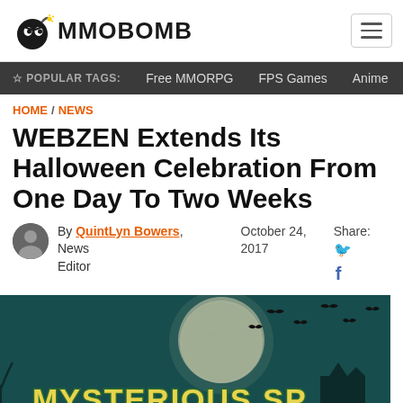MMOBOMB
POPULAR TAGS: Free MMORPG  FPS Games  Anime
HOME / NEWS
WEBZEN Extends Its Halloween Celebration From One Day To Two Weeks
By QuintLyn Bowers, News Editor  October 24, 2017  Share:
[Figure (photo): Halloween themed promotional image with text 'MYSTERIOUS SP HALLOWEEN W' showing bats flying over a full moon with bare trees and a dark teal sky]